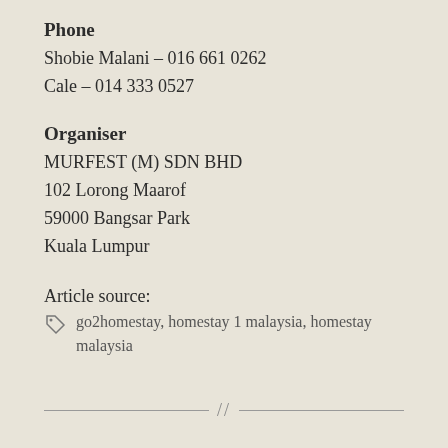Phone
Shobie Malani – 016 661 0262
Cale – 014 333 0527
Organiser
MURFEST (M) SDN BHD
102 Lorong Maarof
59000 Bangsar Park
Kuala Lumpur
Article source:
go2homestay, homestay 1 malaysia, homestay malaysia